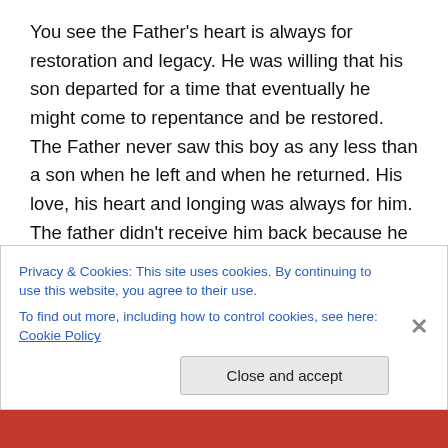You see the Father's heart is always for restoration and legacy. He was willing that his son departed for a time that eventually he might come to repentance and be restored. The Father never saw this boy as any less than a son when he left and when he returned. His love, his heart and longing was always for him. The father didn't receive him back because he deserved it. He didn't kill the fatted calf and celebrate because of his great choices and he didn't put the ring on his finger because he deserved to be a part of the family any longer, but because the father wanted him to know who he was to him and know that he still
Privacy & Cookies: This site uses cookies. By continuing to use this website, you agree to their use.
To find out more, including how to control cookies, see here: Cookie Policy
Close and accept